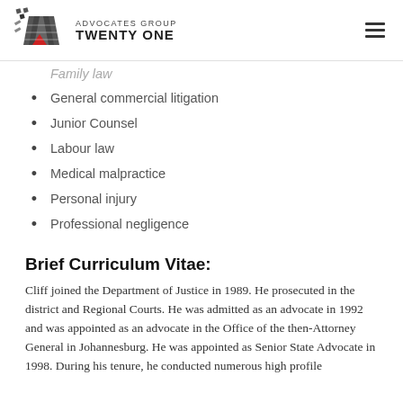ADVOCATES GROUP TWENTY ONE
Family law
General commercial litigation
Junior Counsel
Labour law
Medical malpractice
Personal injury
Professional negligence
Brief Curriculum Vitae:
Cliff joined the Department of Justice in 1989. He prosecuted in the district and Regional Courts. He was admitted as an advocate in 1992 and was appointed as an advocate in the Office of the then-Attorney General in Johannesburg. He was appointed as Senior State Advocate in 1998. During his tenure, he conducted numerous high profile